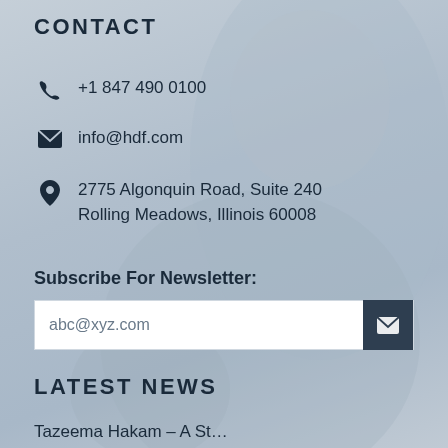CONTACT
+1 847 490 0100
info@hdf.com
2775 Algonquin Road, Suite 240
Rolling Meadows, Illinois 60008
Subscribe For Newsletter:
abc@xyz.com
LATEST NEWS
Tazeema Hakam – A St…